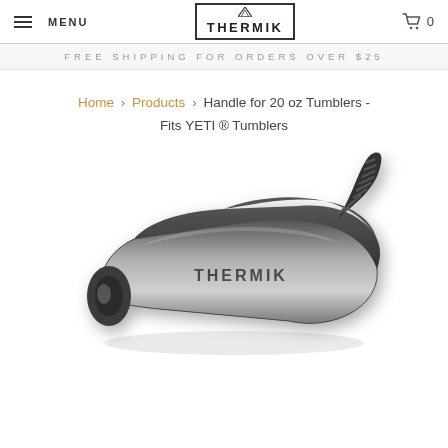MENU | THERMIK | 0
FREE SHIPPING FOR ORDERS OVER $25
Home › Products › Handle for 20 oz Tumblers - Fits YETI ® Tumblers
[Figure (photo): Photo of a Thermik tumbler handle – a curved black and silver grip with ribbed flexible attachment section, shown on white background with 'THERMIK' branding on the front face.]